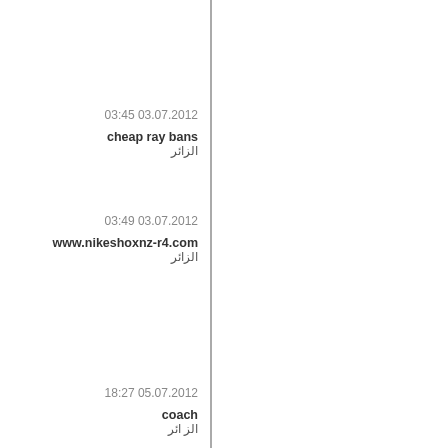03:45 03.07.2012
cheap ray bans
الزائر
03:49 03.07.2012
www.nikeshoxnz-r4.com
الزائر
18:27 05.07.2012
coach
الز ائر